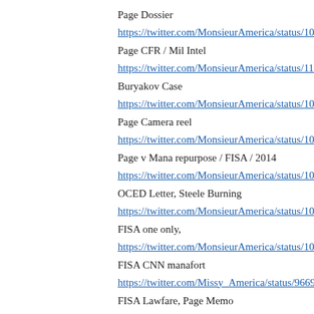Page Dossier
https://twitter.com/MonsieurAmerica/status/102782408077323...
Page CFR / Mil Intel
https://twitter.com/MonsieurAmerica/status/110351638328598...
Buryakov Case
https://twitter.com/MonsieurAmerica/status/103435171255371...
Page Camera reel
https://twitter.com/MonsieurAmerica/status/102187680074019...
Page v Mana repurpose / FISA / 2014
https://twitter.com/MonsieurAmerica/status/101570372450783...
OCED Letter, Steele Burning
https://twitter.com/MonsieurAmerica/status/108898268980847...
FISA one only,
https://twitter.com/MonsieurAmerica/status/109983912264495...
FISA CNN manafort
https://twitter.com/Missy_America/status/9669194798326702...
FISA Lawfare, Page Memo